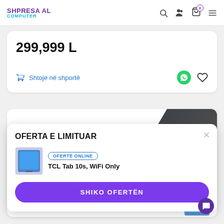SHPRESA AL COMPUTER
299,999 L
Shtoje në shportë
OFERTA E LIMITUAR
OFERTË ONLINE
TCL Tab 10s, WiFi Only
SHIKO OFERTËN